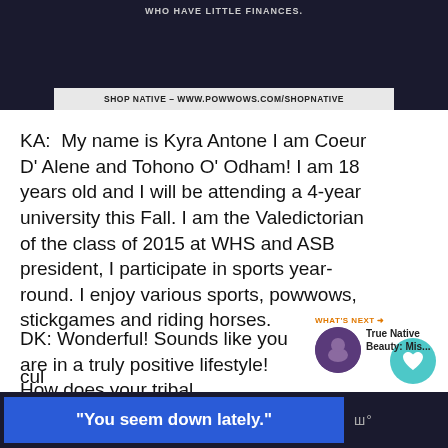[Figure (screenshot): Dark header image with text 'WHO HAVE LITTLE FINANCES.' and a shop banner 'SHOP NATIVE – WWW.POWWOWS.COM/SHOPNATIVE']
KA:  My name is Kyra Antone I am Coeur D' Alene and Tohono O' Odham! I am 18 years old and I will be attending a 4-year university this Fall. I am the Valedictorian of the class of 2015 at WHS and ASB president, I participate in sports year-round. I enjoy various sports, powwows, stickgames and riding horses.
DK: Wonderful! Sounds like you are in a truly positive lifestyle! How does your tribal
cul
[Figure (screenshot): Bottom banner with blue box saying "You seem down lately." and dark background with logo]
"You seem down lately."